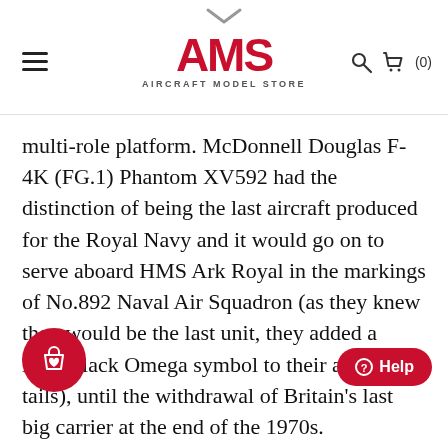[Figure (logo): AMS Aircraft Model Store logo with red bold AMS text and subtitle AIRCRAFT MODEL STORE]
multi-role platform. McDonnell Douglas F-4K (FG.1) Phantom XV592 had the distinction of being the last aircraft produced for the Royal Navy and it would go on to serve aboard HMS Ark Royal in the markings of No.892 Naval Air Squadron (as they knew they would be the last unit, they added a large black Omega symbol to their aircraft’s tails), until the withdrawal of Britain’s last big carrier at the end of the 1970s.
With the rest of the remaining Royal Navy arms at that time, XV592 would later be transferred to the care of the Royal Air Force at Leuchars in Scotland, where she would perform as